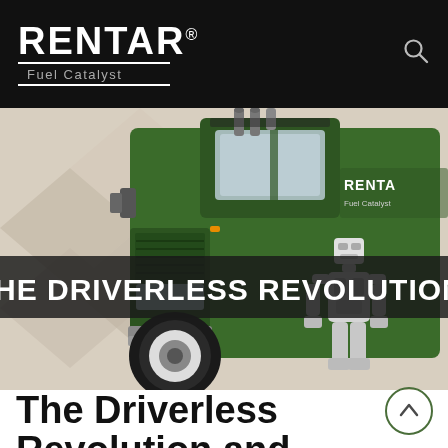RENTAR® Fuel Catalyst
[Figure (photo): Hero image of a green Rentar-branded semi truck with a robot standing beside it, on a light beige geometric background. A dark semi-transparent banner across the middle reads 'THE DRIVERLESS REVOLUTION' in large bold white text.]
The Driverless Revolution and Fuel